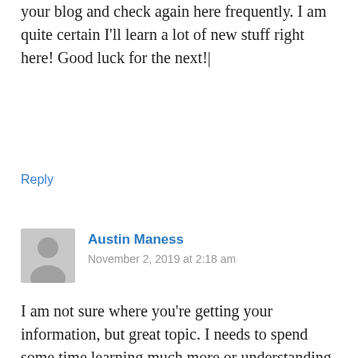your blog and check again here frequently. I am quite certain I'll learn a lot of new stuff right here! Good luck for the next!|
Reply
Austin Maness
November 2, 2019 at 2:18 am
[Figure (illustration): Generic grey avatar silhouette of a person]
I am not sure where you’re getting your information, but great topic. I needs to spend some time learning much more or understanding more. Thanks for wonderful information I was looking for this info for my mission.|
Reply